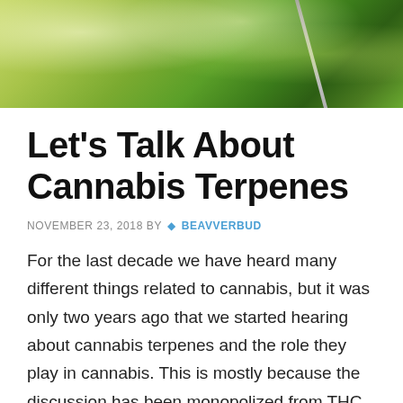[Figure (photo): Blurred green bokeh background photo with a thin metallic object (possibly a pen or dropper) visible at an angle]
Let's Talk About Cannabis Terpenes
NOVEMBER 23, 2018 BY  BEAVVERBUD
For the last decade we have heard many different things related to cannabis, but it was only two years ago that we started hearing about cannabis terpenes and the role they play in cannabis. This is mostly because the discussion has been monopolized from THC and CBD, the most well known compounds of cannabis.